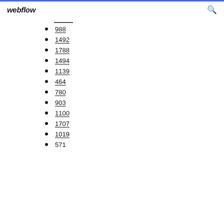webflow
988
1492
1788
1494
1139
464
780
903
1100
1707
1019
571